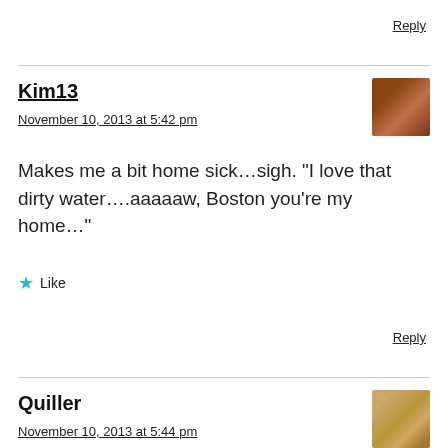Reply
Kim13
November 10, 2013 at 5:42 pm
Makes me a bit home sick…sigh. “I love that dirty water….aaaaaw, Boston you’re my home…”
Like
Reply
Quiller
November 10, 2013 at 5:44 pm